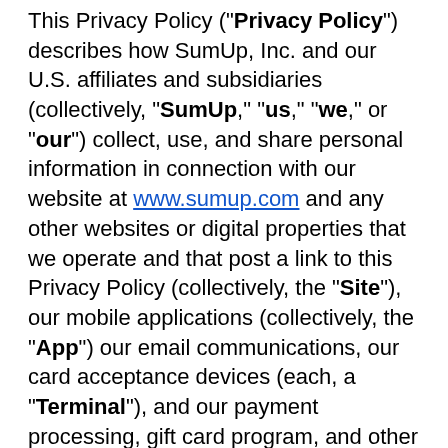This Privacy Policy (“Privacy Policy”) describes how SumUp, Inc. and our U.S. affiliates and subsidiaries (collectively, “SumUp,” “us,” “we,” or “our”) collect, use, and share personal information in connection with our website at www.sumup.com and any other websites or digital properties that we operate and that post a link to this Privacy Policy (collectively, the “Site”), our mobile applications (collectively, the “App”) our email communications, our card acceptance devices (each, a “Terminal”), and our payment processing, gift card program, and other products and services (together, the “Services”).
We may change this Privacy Policy from time to time by posting the updates to this page. We advise you to review this page regularly to stay informed and to make sure that you keep up to date with any changes. If we make material changes to this Privacy Policy, we will post those changes to this Privacy Policy and update the “Last Updated” date above. If required by law, we will notify you at material